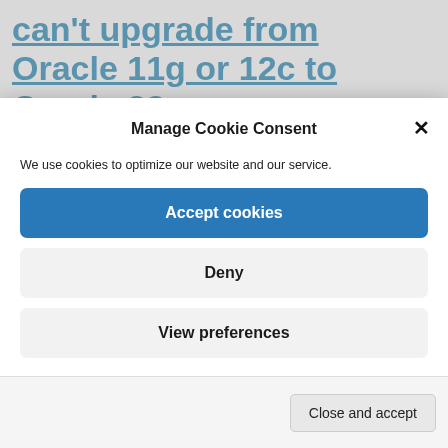can't upgrade from Oracle 11g or 12c to Oracle 23c
Manage Cookie Consent
We use cookies to optimize our website and our service.
Accept cookies
Deny
View preferences
Cookie Policy   Privacy Statement   About
Close and accept